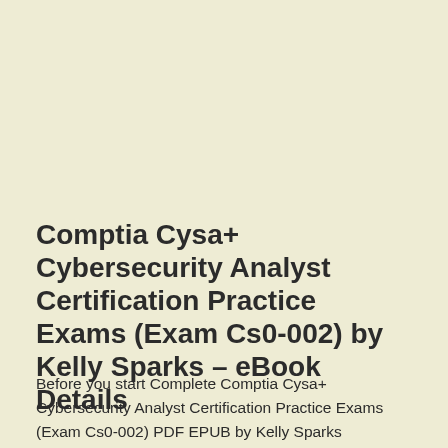Comptia Cysa+ Cybersecurity Analyst Certification Practice Exams (Exam Cs0-002) by Kelly Sparks – eBook Details
Before you start Complete Comptia Cysa+ Cybersecurity Analyst Certification Practice Exams (Exam Cs0-002) PDF EPUB by Kelly Sparks